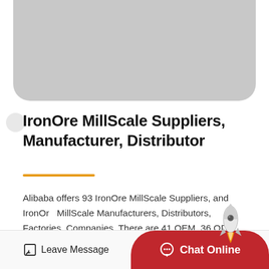[Figure (photo): Gray placeholder image at top of page with rounded bottom corners]
IronOre MillScale Suppliers, Manufacturer, Distributor
Alibaba offers 93 IronOre MillScale Suppliers, and IronOre MillScale Manufacturers, Distributors, Factories, Companies. There are 41 OEM, 36 ODM, 16 Self Patent. Find high quality…
Leave Message   Chat Online